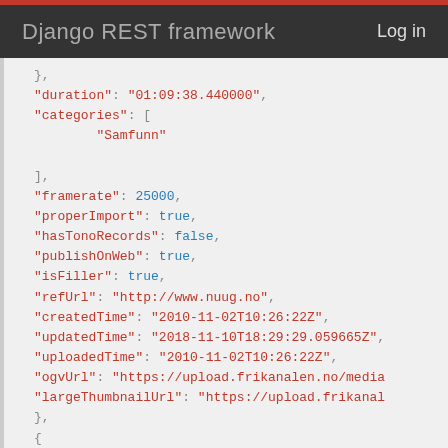Django REST framework   Log in
},
"duration": "01:09:38.440000",
"categories": [
    "Samfunn"
],
"framerate": 25000,
"properImport": true,
"hasTonoRecords": false,
"publishOnWeb": true,
"isFiller": true,
"refUrl": "http://www.nuug.no",
"createdTime": "2010-11-02T10:26:22Z",
"updatedTime": "2018-11-10T18:29:29.059665Z",
"uploadedTime": "2010-11-02T10:26:22Z",
"ogvUrl": "https://upload.frikanalen.no/media",
"largeThumbnailUrl": "https://upload.frikanal
},
{
"id": 625850,
"name": "Daily Tech News Show 23. November 20
"header": "",
"description": null,
"files": [